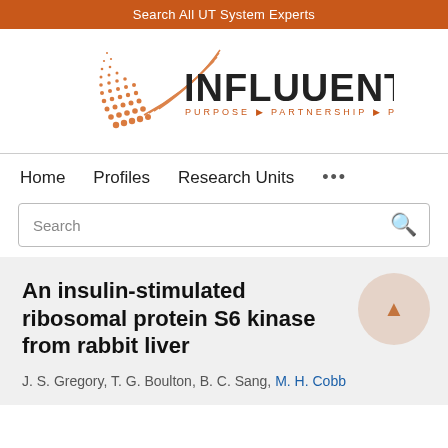Search All UT System Experts
[Figure (logo): Influuent logo with orange geometric dot-pattern triangle and text INFLUUENT PURPOSE PARTNERSHIP PROGRESS]
Home   Profiles   Research Units   ...
Search
An insulin-stimulated ribosomal protein S6 kinase from rabbit liver
J. S. Gregory, T. G. Boulton, B. C. Sang, M. H. Cobb